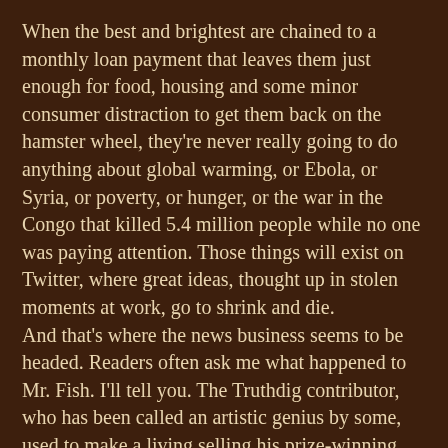When the best and brightest are chained to a monthly loan payment that leaves them just enough for food, housing and some minor consumer distraction to get them back on the hamster wheel, they're never really going to do anything about global warming, or Ebola, or Syria, or poverty, or hunger, or the war in the Congo that killed 5.4 million people while no one was paying attention. Those things will exist on Twitter, where great ideas, thought up in stolen moments at work, go to shrink and die.
And that's where the news business seems to be headed. Readers often ask me what happened to Mr. Fish. I'll tell you. The Truthdig contributor, who has been called an artistic genius by some, used to make a living selling his prize-winning cartoons to news outlets and other buyers. The author of multiple books and curator of an exhibition on the subject, he is possibly one of the nation's leading experts on editorial cartooning. He also works for Whole Foods. Je suis Charlie.

I do not know what can save journalism, but I can tell you